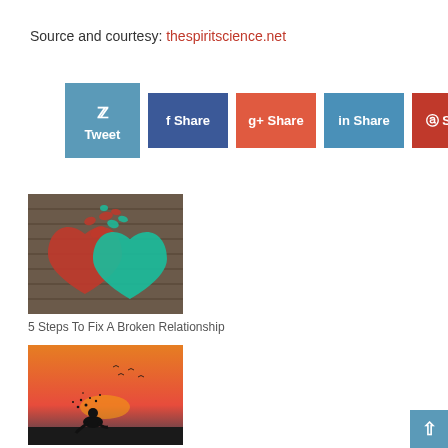Source and courtesy: thespiritscience.net
[Figure (infographic): Social share buttons: Twitter Tweet, Facebook Share, Google+ Share, LinkedIn Share, Pinterest Share]
[Figure (photo): Two paper hearts (one red, one teal) on a wooden surface, broken and coming apart at the top]
5 Steps To Fix A Broken Relationship
[Figure (photo): Silhouette of a person sitting with splashing effect against an orange sunset sky with birds]